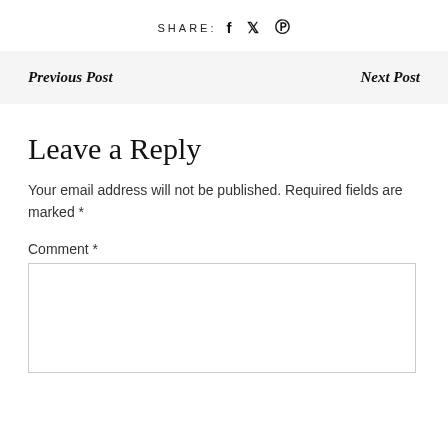SHARE:  f  🐦  ℗
Previous Post    Next Post
Leave a Reply
Your email address will not be published. Required fields are marked *
Comment *